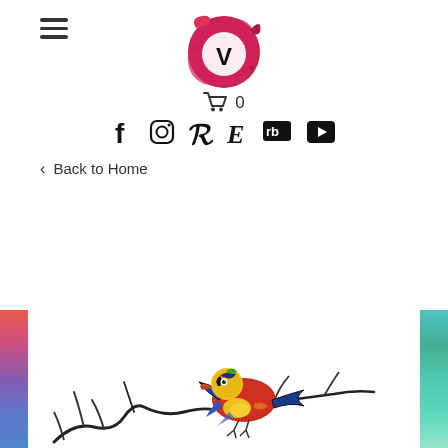Navigation header with logo, cart, and social icons
< Back to Home
[Figure (illustration): Colorful abstract bird perched on a branch, rendered in a pop-art / sticker style with bold black outlines and vivid colors including red, orange, yellow, green, blue and purple.]